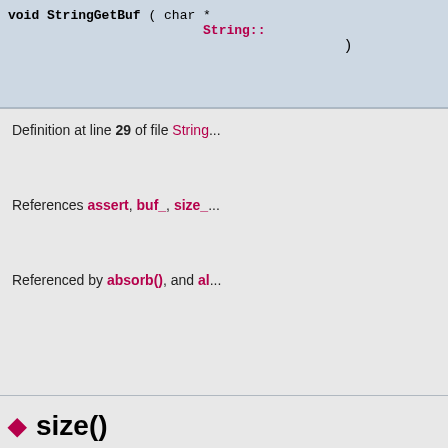void StringGetBuf ( char *  String::...  )
Definition at line 29 of file String...
References assert, buf_, size_...
Referenced by absorb(), and al...
◆ size()
size_type String::size (  ) cons...
Definition at line 73 of file Squid...
References len_.
Referenced by String(), ESIAss... ESIVarState::buildVary(), canG... Http::ContentLengthInterprete... CacheManager::CheckPasswo... Adaptation::Icap::Options::co...